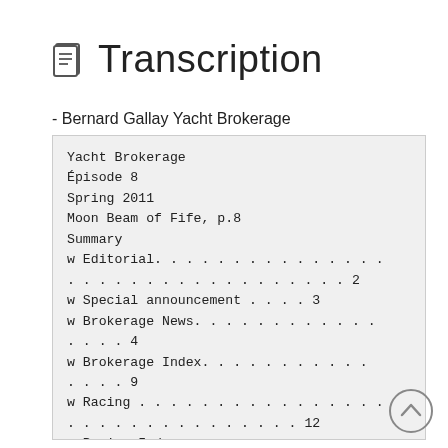Transcription
- Bernard Gallay Yacht Brokerage
Yacht Brokerage
Épisode 8
Spring 2011
Moon Beam of Fife, p.8
Summary
w Editorial. . . . . . . . . . . . . . . . . . . . . . . . . . . . . . . . 2
w Special announcement . . . . 3
w Brokerage News. . . . . . . . . . . . . . . . . . . 4
w Brokerage Index. . . . . . . . . . . . . . . . . . . 9
w Racing . . . . . . . . . . . . . . . . . . . . . . . . . . . . . . . . . . 12
w Racing Index. . . . . . . . . . . . . . . . . . . . . . . . . . . 15
w Race Calendar 2011 . . . . . . . . . . . . . . . . 16